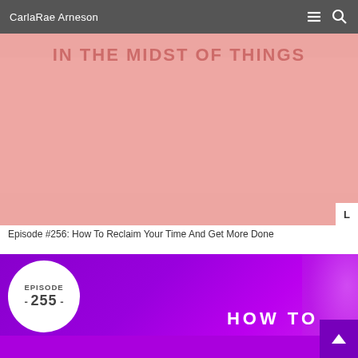CarlaRae Arneson
[Figure (photo): Cropped pink/salmon-toned photo with overlaid text 'IN THE MIDST OF THINGS' and a white badge with letter L in the bottom right corner]
Episode #256: How To Reclaim Your Time And Get More Done
[Figure (photo): Purple gradient podcast episode image with a white circular badge showing 'EPISODE - 255 -' and large white text 'HOW TO' on the right, with a decorative glass/hourglass element on the far right and a purple scroll-to-top button in the corner]